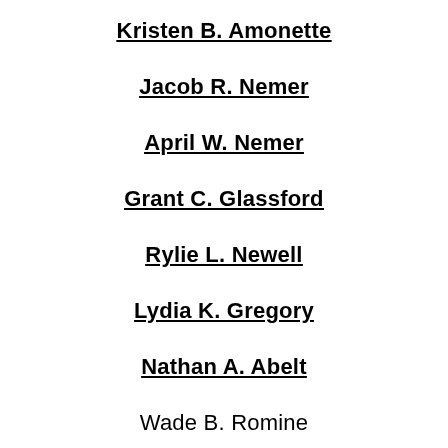Kristen B. Amonette
Jacob R. Nemer
April W. Nemer
Grant C. Glassford
Rylie L. Newell
Lydia K. Gregory
Nathan A. Abelt
Wade B. Romine